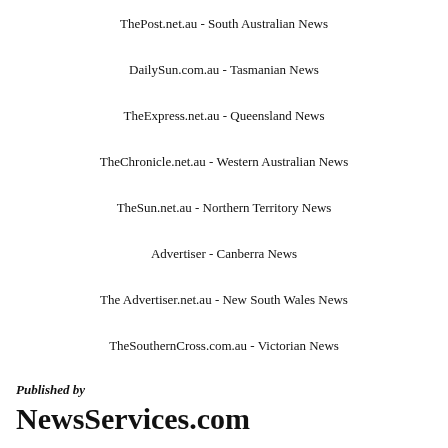ThePost.net.au - South Australian News
DailySun.com.au - Tasmanian News
TheExpress.net.au - Queensland News
TheChronicle.net.au - Western Australian News
TheSun.net.au - Northern Territory News
Advertiser - Canberra News
The Advertiser.net.au - New South Wales News
TheSouthernCross.com.au - Victorian News
Published by
NewsServices.com